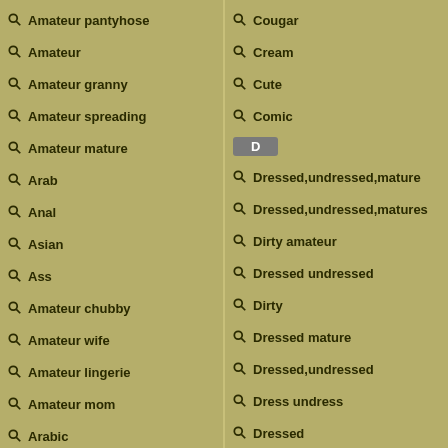Amateur pantyhose
Amateur
Amateur granny
Amateur spreading
Amateur mature
Arab
Anal
Asian
Ass
Amateur chubby
Amateur wife
Amateur lingerie
Amateur mom
Arabic
Ass pussy
Cougar
Cream
Cute
Comic
D
Dressed,undressed,mature
Dressed,undressed,matures
Dirty amateur
Dressed undressed
Dirty
Dressed mature
Dressed,undressed
Dress undress
Dressed
Dress